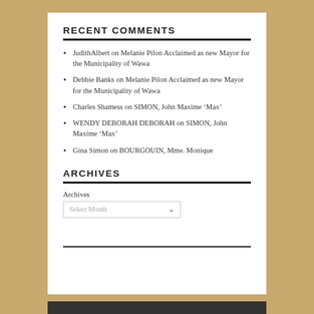RECENT COMMENTS
JudithAlbert on Melanie Pilon Acclaimed as new Mayor for the Municipality of Wawa
Debbie Banks on Melanie Pilon Acclaimed as new Mayor for the Municipality of Wawa
Charles Shamess on SIMON, John Maxime ‘Max’
WENDY DEBORAH DEBORAH on SIMON, John Maxime ‘Max’
Gina Simon on BOURGOUIN, Mme. Monique
ARCHIVES
Archives
Select Month